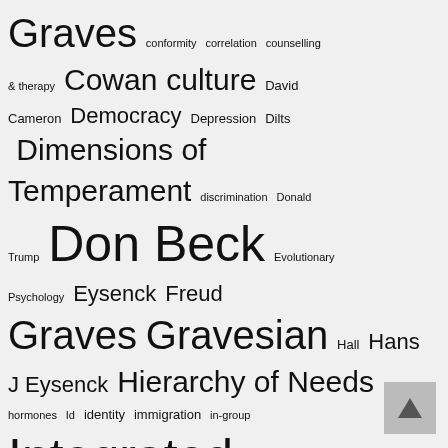[Figure (other): Tag cloud showing psychology and social theory related terms in varying font sizes indicating frequency/importance. Terms include: Graves, conformity, correlation, counselling & therapy, Cowan, culture, David Cameron, Democracy, Depression, Dilts, Dimensions of Temperament, discrimination, Donald Trump, Don Beck, Evolutionary Psychology, Eysenck, Freud, Graves, Gravesian, Hall, Hans J Eysenck, Hierarchy of Needs, hormones, Id, identity, immigration, in-group, Integrated SocioPsychology, Iraq, Islam, John Bowlby, Johnson, Ken Wilber, Kohlberg, Lawrence Kohlberg, Margaret Thatcher, Maslow, memes, memetics, MeshWORKS, meta-programmes, Meta-States, middle class, nationalism, Neurological Levels, NLP, norms]